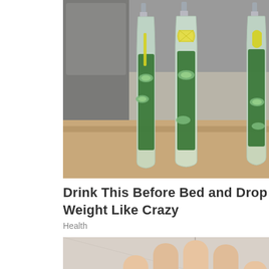[Figure (photo): Three clear plastic water bottles filled with water, cucumber slices, lemon pieces, and fresh mint leaves, sitting on a kitchen counter with granite surface and stainless steel refrigerator in background.]
Drink This Before Bed and Drop Body Weight Like Crazy
Health
[Figure (photo): Close-up of a human hand holding several small dark brown walnuts or similar nuts against a light tile floor background. Small green 'P' icon and black 'X' icon overlay visible at bottom center.]